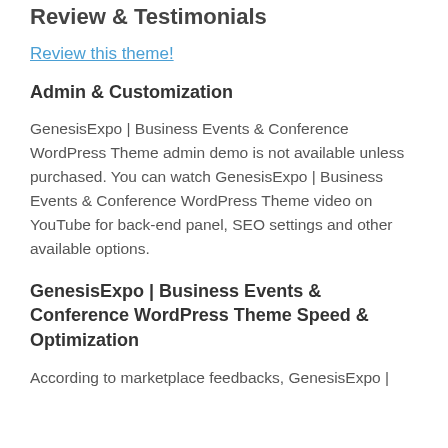Review & Testimonials
Review this theme!
Admin & Customization
GenesisExpo | Business Events & Conference WordPress Theme admin demo is not available unless purchased. You can watch GenesisExpo | Business Events & Conference WordPress Theme video on YouTube for back-end panel, SEO settings and other available options.
GenesisExpo | Business Events & Conference WordPress Theme Speed & Optimization
According to marketplace feedbacks, GenesisExpo |